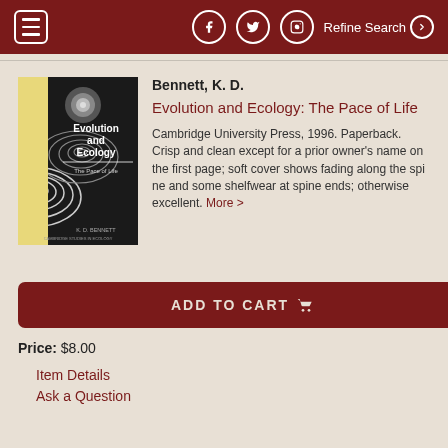≡  [Facebook] [Twitter] [Instagram]  Refine Search ❯
[Figure (illustration): Book cover of 'Evolution and Ecology: The Pace of Life' by K. D. Bennett, Cambridge Studies in Ecology. Cover shows abstract concentric shell/spiral patterns in black and white on a yellow background.]
Bennett, K. D.
Evolution and Ecology: The Pace of Life
Cambridge University Press, 1996. Paperback. Crisp and clean except for a prior owner's name on the first page; soft cover shows fading along the spi ne and some shelfwear at spine ends; otherwise excellent. More >
ADD TO CART 🛒
Price: $8.00
Item Details
Ask a Question